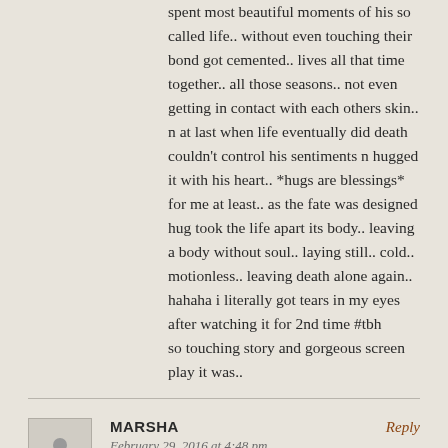spent most beautiful moments of his so called life.. without even touching their bond got cemented.. lives all that time together.. all those seasons.. not even getting in contact with each others skin.. n at last when life eventually did death couldn't control his sentiments n hugged it with his heart.. *hugs are blessings* for me at least.. as the fate was designed hug took the life apart its body.. leaving a body without soul.. laying still.. cold.. motionless.. leaving death alone again..
hahaha i literally got tears in my eyes after watching it for 2nd time #tbh
so touching story and gorgeous screen play it was..
MARSHA
Reply
February 29, 2016 at 4:48 pm
Thank you so much for your comment! I love the way you looked at my film. Thank you for sharing that!